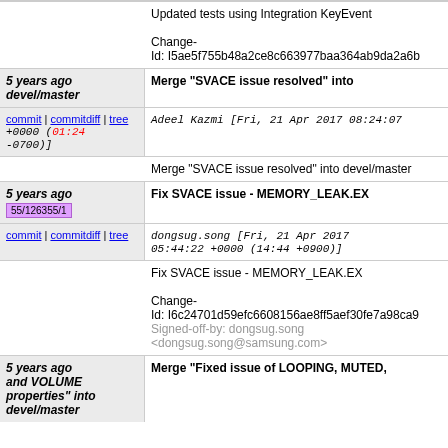Updated tests using Integration KeyEvent

Change-Id: I5ae5f755b48a2ce8c663977baa364ab9da2a6b...
5 years ago   Merge "SVACE issue resolved" into devel/master
commit | commitdiff | tree   Adeel Kazmi [Fri, 21 Apr 2017 08:24:07 +0000 (01:24 -0700)]
Merge "SVACE issue resolved" into devel/master
5 years ago   Fix SVACE issue - MEMORY_LEAK.EX
55/126355/1
commit | commitdiff | tree   dongsug.song [Fri, 21 Apr 2017 05:44:22 +0000 (14:44 +0900)]
Fix SVACE issue - MEMORY_LEAK.EX

Change-Id: I6c24701d59efc6608156ae8ff5aef30fe7a98ca9...
Signed-off-by: dongsug.song <dongsug.song@samsung.com>
5 years ago   Merge "Fixed issue of LOOPING, MUTED, and VOLUME properties" into devel/master